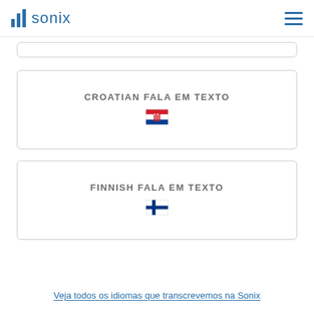sonix
[Figure (screenshot): Partial card stub at top of content area]
CROATIAN FALA EM TEXTO
[Figure (illustration): Croatian flag emoji]
FINNISH FALA EM TEXTO
[Figure (illustration): Finnish flag emoji]
Veja todos os idiomas que transcrevemos na Sonix